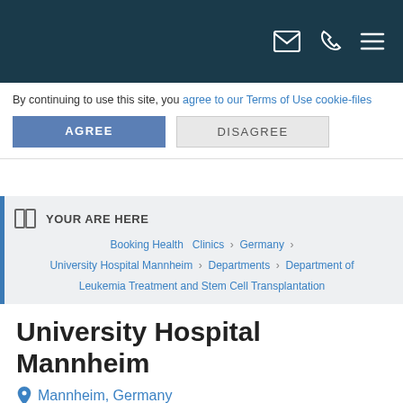Header navigation bar with email, phone, and menu icons
By continuing to use this site, you agree to our Terms of Use cookie-files
AGREE
DISAGREE
YOUR ARE HERE
Booking Health  Clinics  ›  Germany  ›  University Hospital Mannheim  ›  Departments  ›  Department of Leukemia Treatment and Stem Cell Transplantation
University Hospital Mannheim
Mannheim, Germany
9.8/10 from 56 Votes
Treatment request